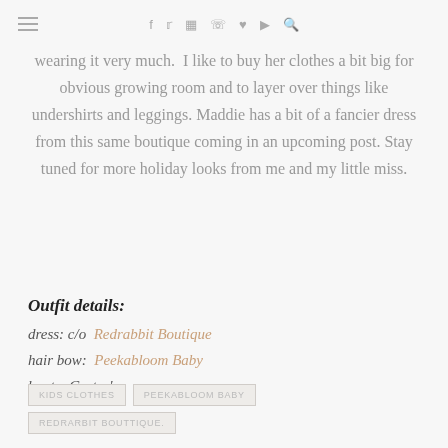≡  f  t  [instagram]  [pinterest]  ♥  [youtube]  [search]
wearing it very much. I like to buy her clothes a bit big for obvious growing room and to layer over things like undershirts and leggings. Maddie has a bit of a fancier dress from this same boutique coming in an upcoming post. Stay tuned for more holiday looks from me and my little miss.
Outfit details:
dress: c/o  Redrabbit Boutique
hair bow:  Peekabloom Baby
boots: Carter's
KIDS CLOTHES   PEEKABLOOM BABY   REDRARBIT BOUTTIQUE.